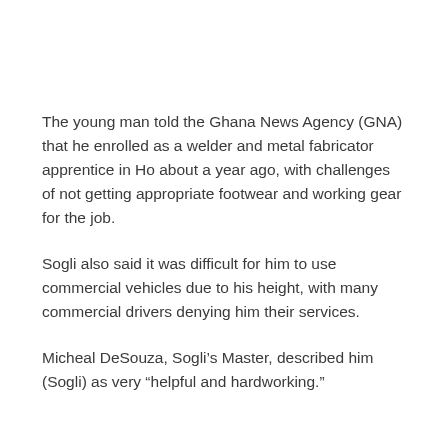The young man told the Ghana News Agency (GNA) that he enrolled as a welder and metal fabricator apprentice in Ho about a year ago, with challenges of not getting appropriate footwear and working gear for the job.
Sogli also said it was difficult for him to use commercial vehicles due to his height, with many commercial drivers denying him their services.
Micheal DeSouza, Sogli’s Master, described him (Sogli) as very “helpful and hardworking.”